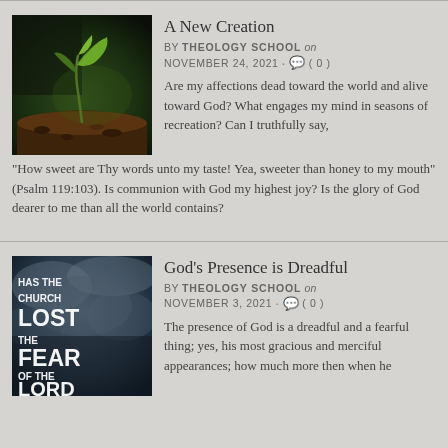[Figure (photo): A young green seedling sprouting from dark soil against a blurred dark background]
A New Creation
BY THEOLOGY SCHOOL on NOVEMBER 24, 2021 · ( 0 )
Are my affections dead toward the world and alive toward God? What engages my mind in seasons of recreation? Can I truthfully say, "How sweet are Thy words unto my taste! Yea, sweeter than honey to my mouth" (Psalm 119:103). Is communion with God my highest joy? Is the glory of God dearer to me than all the world contains?
[Figure (photo): Dark dramatic image with text 'HAS THE CHURCH LOST THE FEAR OF THE LORD' overlaid in bold white letters]
God's Presence is Dreadful
BY THEOLOGY SCHOOL on NOVEMBER 3, 2021 · ( 0 )
The presence of God is a dreadful and a fearful thing; yes, his most gracious and merciful appearances; how much more then when he